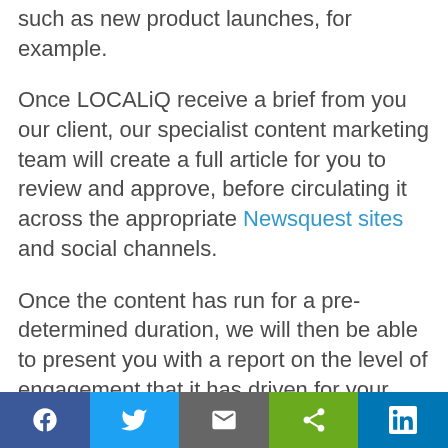such as new product launches, for example.
Once LOCALiQ receive a brief from you our client, our specialist content marketing team will create a full article for you to review and approve, before circulating it across the appropriate Newsquest sites and social channels.
Once the content has run for a pre-determined duration, we will then be able to present you with a report on the level of engagement that it has driven for your business.
What goal do we optimise these campaigns for – is it engagement?
f  [twitter]  [email]  [share]  in